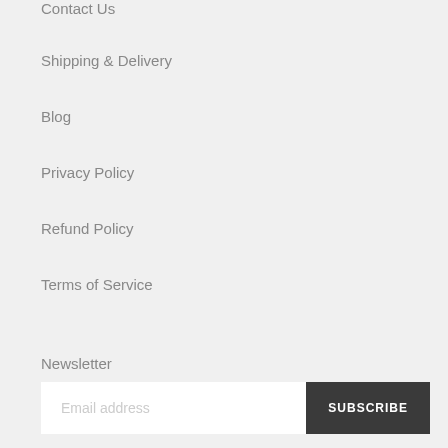Contact Us
Shipping & Delivery
Blog
Privacy Policy
Refund Policy
Terms of Service
Newsletter
Email address
SUBSCRIBE